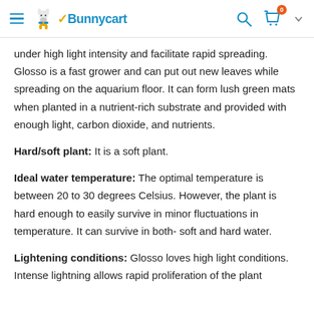Bunnycart [logo with hamburger menu, search icon, cart icon with badge 0]
under high light intensity and facilitate rapid spreading. Glosso is a fast grower and can put out new leaves while spreading on the aquarium floor. It can form lush green mats when planted in a nutrient-rich substrate and provided with enough light, carbon dioxide, and nutrients.
Hard/soft plant: It is a soft plant.
Ideal water temperature: The optimal temperature is between 20 to 30 degrees Celsius. However, the plant is hard enough to easily survive in minor fluctuations in temperature. It can survive in both- soft and hard water.
Lightening conditions: Glosso loves high light conditions. Intense lightning allows rapid proliferation of the plant